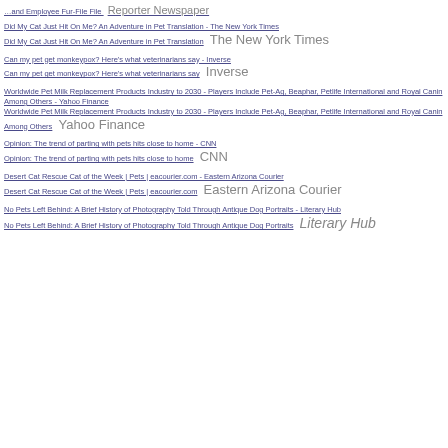Did My Cat Just Hit On Me? An Adventure in Pet Translation - The New York Times
Did My Cat Just Hit On Me? An Adventure in Pet Translation  The New York Times
Can my pet get monkeypox? Here's what veterinarians say - Inverse
Can my pet get monkeypox? Here's what veterinarians say  Inverse
Worldwide Pet Milk Replacement Products Industry to 2030 - Players Include Pet-Ag, Beaphar, Petlife International and Royal Canin Among Others - Yahoo Finance
Worldwide Pet Milk Replacement Products Industry to 2030 - Players Include Pet-Ag, Beaphar, Petlife International and Royal Canin Among Others  Yahoo Finance
Opinion: The trend of parting with pets hits close to home - CNN
Opinion: The trend of parting with pets hits close to home  CNN
Desert Cat Rescue Cat of the Week | Pets | eacourier.com - Eastern Arizona Courier
Desert Cat Rescue Cat of the Week | Pets | eacourier.com  Eastern Arizona Courier
No Pets Left Behind: A Brief History of Photography Told Through Antique Dog Portraits - Literary Hub
No Pets Left Behind: A Brief History of Photography Told Through Antique Dog Portraits  Literary Hub